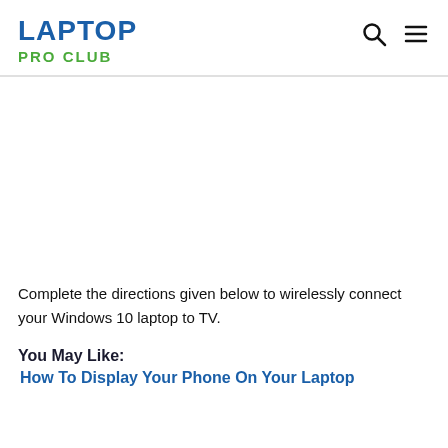LAPTOP PRO CLUB
Complete the directions given below to wirelessly connect your Windows 10 laptop to TV.
You May Like:
How To Display Your Phone On Your Laptop